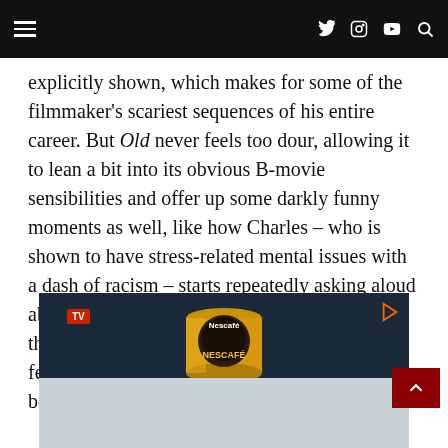Navigation bar with hamburger menu and social icons (Twitter, Instagram, YouTube, Search)
explicitly shown, which makes for some of the filmmaker's scariest sequences of his entire career. But Old never feels too dour, allowing it to lean a bit into its obvious B-movie sensibilities and offer up some darkly funny moments as well, like how Charles – who is shown to have stress-related mental issues with a dash of racism – starts repeatedly asking aloud about a specific movie starring Marlon Brando that he can't remember whenever he begins to feel overwhelmed; a humorous tic that quickly becomes a siren for incoming terror.
[Figure (photo): Advertisement showing a Nescafe Ricoffy product can against a dark blue background with a TV badge and Ricoffy branding below]